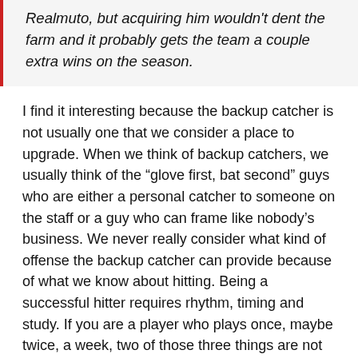Realmuto, but acquiring him wouldn't dent the farm and it probably gets the team a couple extra wins on the season.
I find it interesting because the backup catcher is not usually one that we consider a place to upgrade. When we think of backup catchers, we usually think of the “glove first, bat second” guys who are either a personal catcher to someone on the staff or a guy who can frame like nobody’s business. We never really consider what kind of offense the backup catcher can provide because of what we know about hitting. Being a successful hitter requires rhythm, timing and study. If you are a player who plays once, maybe twice, a week, two of those three things are not things you will have large amounts of. So, we as fans simply throw our